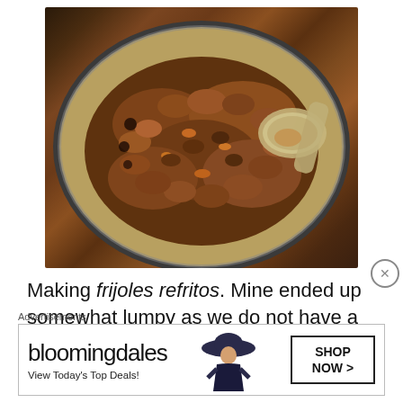[Figure (photo): A close-up photograph of frijoles refritos (refried beans) being cooked in a stainless steel pan, with a metal spoon/ladle visible at the right side. The beans are chunky and browned, cooked with spices giving them an orange-brown color.]
Making frijoles refritos. Mine ended up somewhat lumpy as we do not have a potato masher in the
Advertisements
[Figure (other): Bloomingdale's advertisement banner. Shows 'bloomingdales' logo on the left, tagline 'View Today's Top Deals!', a figure of a woman wearing a large hat in the center, and a 'SHOP NOW >' call-to-action button on the right.]